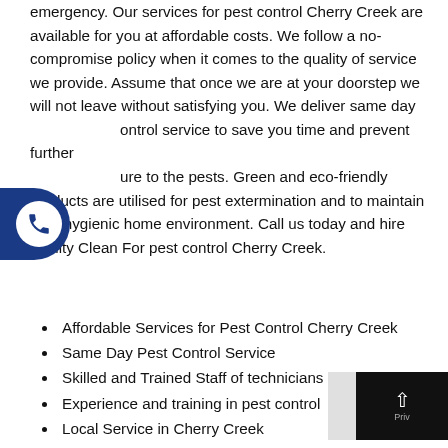...round the clock to provide a quick response in an emergency. Our services for pest control Cherry Creek are available for you at affordable costs. We follow a no-compromise policy when it comes to the quality of service we provide. Assume that once we are at your doorstep we will not leave without satisfying you. We deliver same day pest control service to save you time and prevent further exposure to the pests. Green and eco-friendly products are utilised for pest extermination and to maintain your hygienic home environment. Call us today and hire quality Clean For pest control Cherry Creek.
[Figure (other): Blue phone button widget on left side of page with white circle containing a phone icon]
Affordable Services for Pest Control Cherry Creek
Same Day Pest Control Service
Skilled and Trained Staff of technicians
Experience and training in pest control
Local Service in Cherry Creek
Available 24-7, round the clock
[Figure (other): Black scroll-to-top button in bottom right corner with up arrow and Priv label]